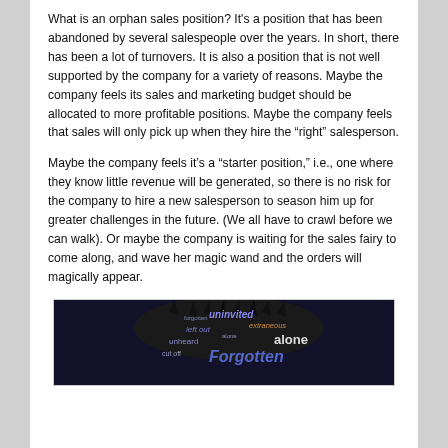What is an orphan sales position? It's a position that has been abandoned by several salespeople over the years. In short, there has been a lot of turnovers. It is also a position that is not well supported by the company for a variety of reasons. Maybe the company feels its sales and marketing budget should be allocated to more profitable positions. Maybe the company feels that sales will only pick up when they hire the “right” salesperson.
Maybe the company feels it’s a “starter position,” i.e., one where they know little revenue will be generated, so there is no risk for the company to hire a new salesperson to season him up for greater challenges in the future. (We all have to crawl before we can walk). Or maybe the company is waiting for the sales fairy to come along, and wave her magic wand and the orders will magically appear.
[Figure (illustration): Word cloud image with dark background featuring words like 'uninvited', 'extraneous', 'left out', 'unheard', 'alone', 'forgotten', 'cut off' in various colors including purple, blue, and white, with dark spiky texture at the top.]